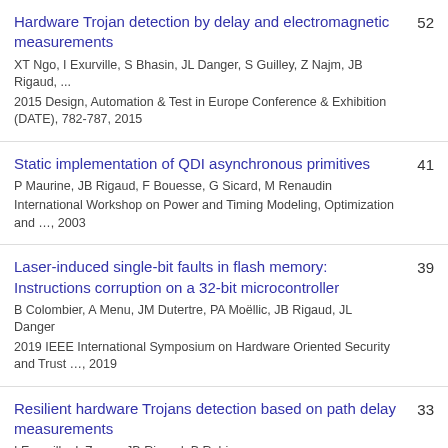Hardware Trojan detection by delay and electromagnetic measurements
XT Ngo, I Exurville, S Bhasin, JL Danger, S Guilley, Z Najm, JB Rigaud, ...
2015 Design, Automation & Test in Europe Conference & Exhibition (DATE), 782-787, 2015
52
Static implementation of QDI asynchronous primitives
P Maurine, JB Rigaud, F Bouesse, G Sicard, M Renaudin
International Workshop on Power and Timing Modeling, Optimization and ..., 2003
41
Laser-induced single-bit faults in flash memory: Instructions corruption on a 32-bit microcontroller
B Colombier, A Menu, JM Dutertre, PA Moëllic, JB Rigaud, JL Danger
2019 IEEE International Symposium on Hardware Oriented Security and Trust ..., 2019
39
Resilient hardware Trojans detection based on path delay measurements
I Exurville, L Zussa, JB Rigaud, B Robisson
33